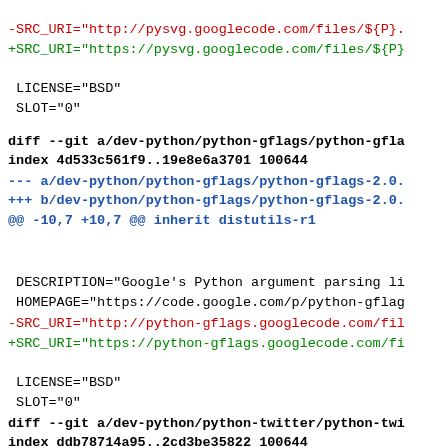-SRC_URI="http://pysvg.googlecode.com/files/${P}.
+SRC_URI="https://pysvg.googlecode.com/files/${P}
LICENSE="BSD"
 SLOT="0"
diff --git a/dev-python/python-gflags/python-gfla
index 4d533c561f9..19e8e6a3701 100644
--- a/dev-python/python-gflags/python-gflags-2.0.
+++ b/dev-python/python-gflags/python-gflags-2.0.
@@ -10,7 +10,7 @@ inherit distutils-r1
DESCRIPTION="Google's Python argument parsing li
 HOMEPAGE="https://code.google.com/p/python-gflag
-SRC_URI="http://python-gflags.googlecode.com/fil
+SRC_URI="https://python-gflags.googlecode.com/fi
LICENSE="BSD"
 SLOT="0"
diff --git a/dev-python/python-twitter/python-twi
index ddb78714a95..2cd3be35822 100644
--- a/dev-python/python-twitter/python-twitter-1.